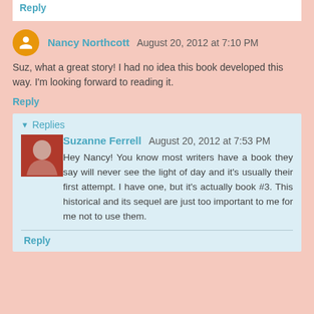Reply
Nancy Northcott August 20, 2012 at 7:10 PM
Suz, what a great story! I had no idea this book developed this way. I'm looking forward to reading it.
Reply
Replies
Suzanne Ferrell August 20, 2012 at 7:53 PM
Hey Nancy! You know most writers have a book they say will never see the light of day and it's usually their first attempt. I have one, but it's actually book #3. This historical and its sequel are just too important to me for me not to use them.
Reply